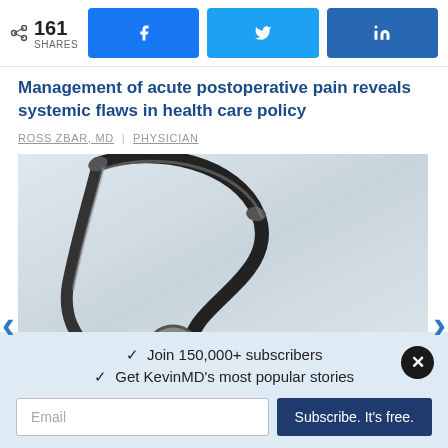161 SHARES
Management of acute postoperative pain reveals systemic flaws in health care policy
ROSS ZBAR, MD | PHYSICIAN
[Figure (photo): Close-up photo of a medical stethoscope on a light gray surface]
✓ Join 150,000+ subscribers
✓ Get KevinMD's most popular stories
Email
Subscribe. It's free.